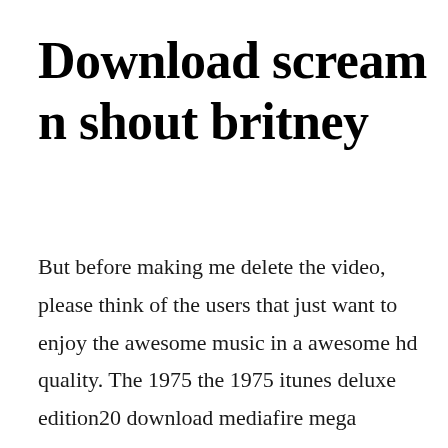Download scream n shout britney
But before making me delete the video, please think of the users that just want to enjoy the awesome music in a awesome hd quality. The 1975 the 1975 itunes deluxe edition20 download mediafire mega description. See the boys in the club they watching us they watching us they watching us. Ecco il testo